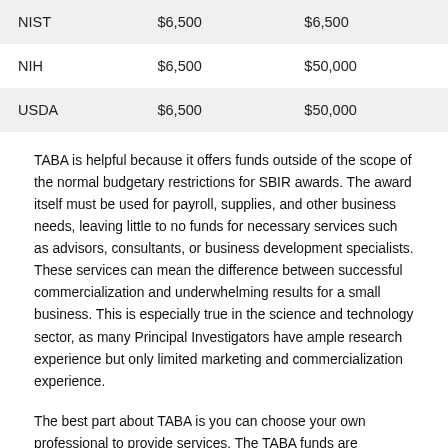| NIST | $6,500 | $6,500 |
| NIH | $6,500 | $50,000 |
| USDA | $6,500 | $50,000 |
TABA is helpful because it offers funds outside of the scope of the normal budgetary restrictions for SBIR awards. The award itself must be used for payroll, supplies, and other business needs, leaving little to no funds for necessary services such as advisors, consultants, or business development specialists. These services can mean the difference between successful commercialization and underwhelming results for a small business. This is especially true in the science and technology sector, as many Principal Investigators have ample research experience but only limited marketing and commercialization experience.
The best part about TABA is you can choose your own professional to provide services. The TABA funds are allocated